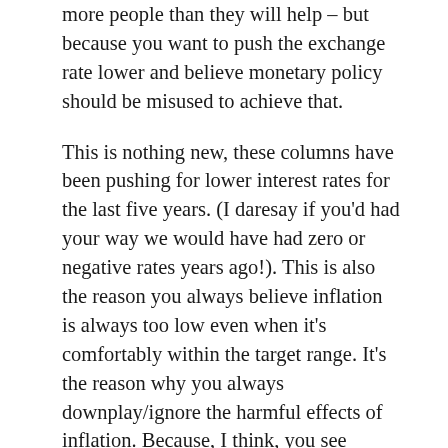more people than they will help – but because you want to push the exchange rate lower and believe monetary policy should be misused to achieve that.
This is nothing new, these columns have been pushing for lower interest rates for the last five years. (I daresay if you'd had your way we would have had zero or negative rates years ago!). This is also the reason you always believe inflation is always too low even when it's comfortably within the target range. It's the reason why you always downplay/ignore the harmful effects of inflation. Because, I think, you see everything through the lens of the exchange rate – will the policy action